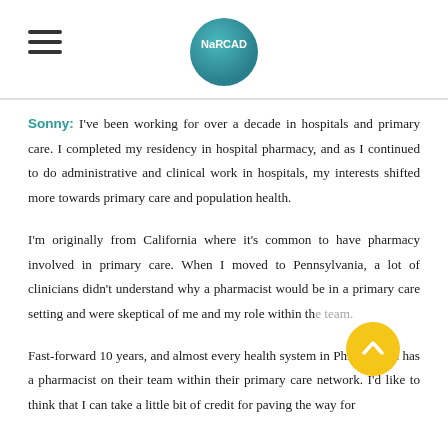NaRCAD
Sonny: I've been working for over a decade in hospitals and primary care. I completed my residency in hospital pharmacy, and as I continued to do administrative and clinical work in hospitals, my interests shifted more towards primary care and population health.
I'm originally from California where it's common to have pharmacy involved in primary care. When I moved to Pennsylvania, a lot of clinicians didn't understand why a pharmacist would be in a primary care setting and were skeptical of me and my role within th…
Fast-forward 10 years, and almost every health system in Philadelphia has a pharmacist on their team within their primary care network. I'd like to think that I can take a little bit of credit for paving the way for